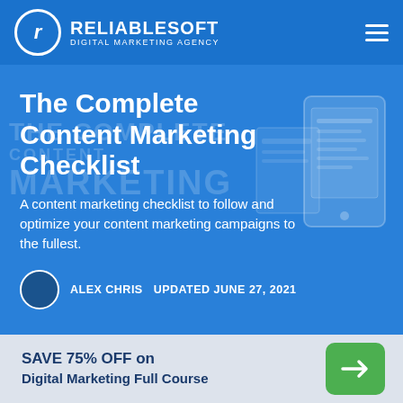RELIABLESOFT DIGITAL MARKETING AGENCY
The Complete Content Marketing Checklist
A content marketing checklist to follow and optimize your content marketing campaigns to the fullest.
ALEX CHRIS   UPDATED JUNE 27, 2021
Content marketing is one of the most efficient
SAVE 75% OFF on Digital Marketing Full Course